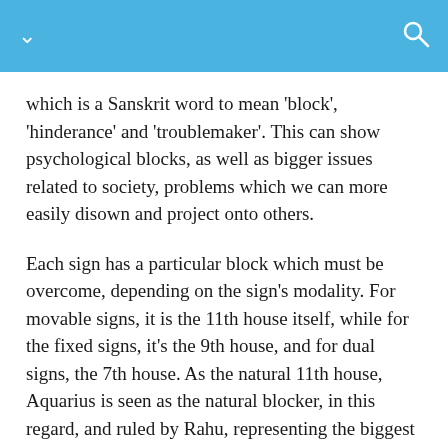which is a Sanskrit word to mean 'block', 'hinderance' and 'troublemaker'. This can show psychological blocks, as well as bigger issues related to society, problems which we can more easily disown and project onto others.
Each sign has a particular block which must be overcome, depending on the sign's modality. For movable signs, it is the 11th house itself, while for the fixed signs, it's the 9th house, and for dual signs, the 7th house. As the natural 11th house, Aquarius is seen as the natural blocker, in this regard, and ruled by Rahu, representing the biggest psychological block we all face. It's connection to the 11th house of gains, although promising a great deal, can actually create the most problems. As the saying goes, ''Be